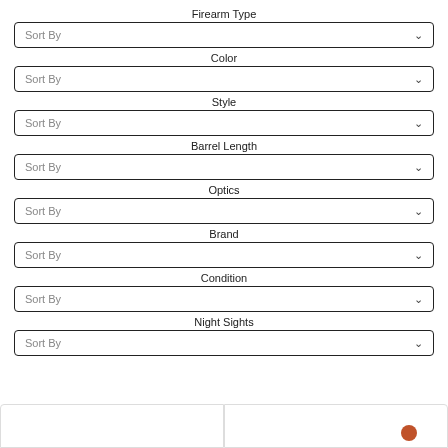Firearm Type
Sort By
Color
Sort By
Style
Sort By
Barrel Length
Sort By
Optics
Sort By
Brand
Sort By
Condition
Sort By
Night Sights
Sort By
[Figure (screenshot): Two partially visible product cards at the bottom of the page]